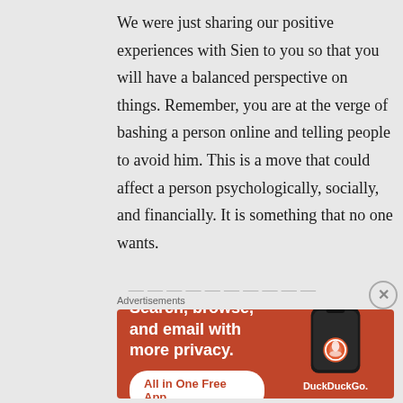We were just sharing our positive experiences with Sien to you so that you will have a balanced perspective on things. Remember, you are at the verge of bashing a person online and telling people to avoid him. This is a move that could affect a person psychologically, socially, and financially. It is something that no one wants.
[Figure (infographic): DuckDuckGo advertisement banner with orange background showing 'Search, browse, and email with more privacy. All in One Free App' with a phone image and DuckDuckGo logo]
Advertisements